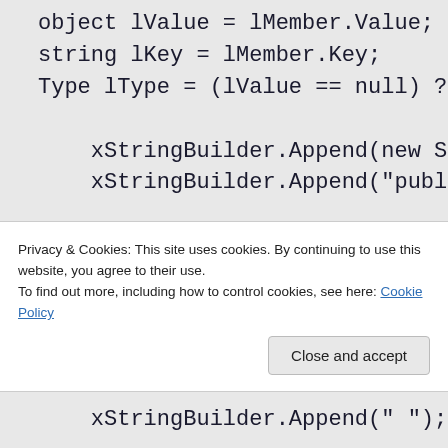object lValue = lMember.Value;
string lKey = lMember.Key;
Type lType = (lValue == null) ?

    xStringBuilder.Append(new Strin
    xStringBuilder.Append("public "

    if (lType.IsValueType || (lValu
        xStringBuilder.Append(lType.N
        xStringBuilder.Append(" ");
        xStringBuilder.Append(lKey);
Privacy & Cookies: This site uses cookies. By continuing to use this website, you agree to their use.
To find out more, including how to control cookies, see here: Cookie Policy
Close and accept
xStringBuilder.Append(" ");